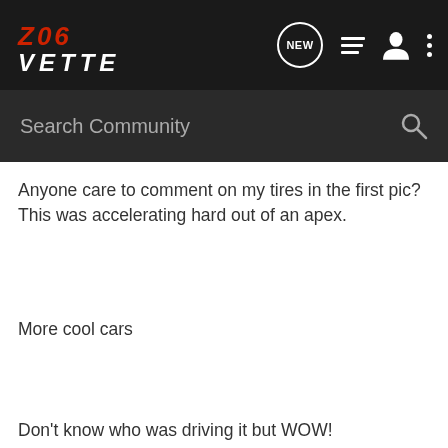[Figure (screenshot): Z06Vette forum website navigation bar with logo, NEW chat icon, list icon, user icon, and dots menu icon on dark background]
[Figure (screenshot): Dark search bar with 'Search Community' placeholder text and magnifying glass icon]
Anyone care to comment on my tires in the first pic? This was accelerating hard out of an apex.
More cool cars
Don't know who was driving it but WOW!